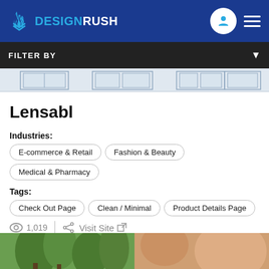DESIGNRUSH
FILTER BY
Lensabl
Industries: E-commerce & Retail | Fashion & Beauty | Medical & Pharmacy
Tags: Check Out Page | Clean / Minimal | Product Details Page
1,019 | Visit Site
[Figure (photo): Bottom image strip showing two partial images: left shows green outdoor scene with trees, right shows warm-toned fashion/beauty product image]